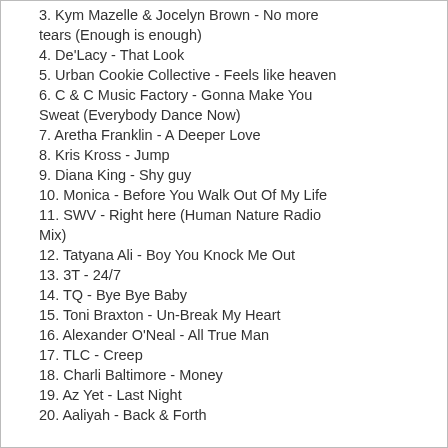3. Kym Mazelle & Jocelyn Brown - No more tears (Enough is enough)
4. De'Lacy - That Look
5. Urban Cookie Collective - Feels like heaven
6. C & C Music Factory - Gonna Make You Sweat (Everybody Dance Now)
7. Aretha Franklin - A Deeper Love
8. Kris Kross - Jump
9. Diana King - Shy guy
10. Monica - Before You Walk Out Of My Life
11. SWV - Right here (Human Nature Radio Mix)
12. Tatyana Ali - Boy You Knock Me Out
13. 3T - 24/7
14. TQ - Bye Bye Baby
15. Toni Braxton - Un-Break My Heart
16. Alexander O'Neal - All True Man
17. TLC - Creep
18. Charli Baltimore - Money
19. Az Yet - Last Night
20. Aaliyah - Back & Forth